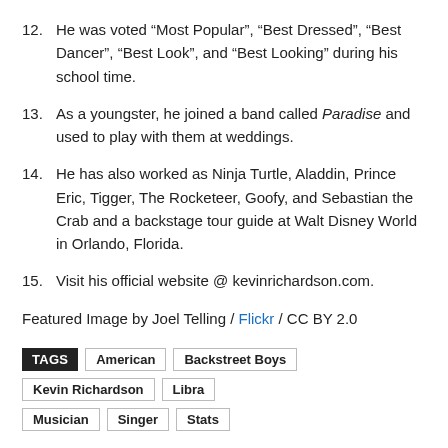12. He was voted “Most Popular”, “Best Dressed”, “Best Dancer”, “Best Look”, and “Best Looking” during his school time.
13. As a youngster, he joined a band called Paradise and used to play with them at weddings.
14. He has also worked as Ninja Turtle, Aladdin, Prince Eric, Tigger, The Rocketeer, Goofy, and Sebastian the Crab and a backstage tour guide at Walt Disney World in Orlando, Florida.
15. Visit his official website @ kevinrichardson.com.
Featured Image by Joel Telling / Flickr / CC BY 2.0
TAGS: American, Backstreet Boys, Kevin Richardson, Libra, Musician, Singer, Stats